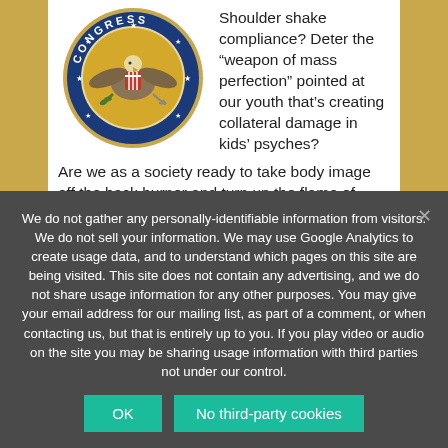[Figure (logo): Seal of the United States Congress — circular blue and gold seal with eagle, shield, and stars, labeled CONGRESS]
Shoulder shake compliance? Deter the “weapon of mass perfection” pointed at our youth that’s creating collateral damage in kids’ psyches?
Are we as a society ready to take body image off the back burner and turn up the flame of corporate social responsibility to hold advertisers accountable?
We do not gather any personally-identifiable information from visitors. We do not sell your information. We may use Google Analytics to create usage data, and to understand which pages on this site are being visited. This site does not contain any advertising, and we do not share usage information for any other purposes. You may give your email address for our mailing list, as part of a comment, or when contacting us, but that is entirely up to you. If you play video or audio on the site you may be sharing usage information with third parties not under our control.